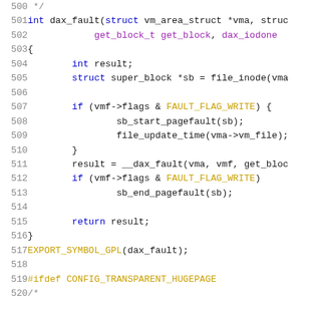Code listing lines 500-520: C source code for dax_fault function
500  */
501  int dax_fault(struct vm_area_struct *vma, struc
502              get_block_t get_block, dax_iodone
503  {
504          int result;
505          struct super_block *sb = file_inode(vma
506  
507          if (vmf->flags & FAULT_FLAG_WRITE) {
508                  sb_start_pagefault(sb);
509                  file_update_time(vma->vm_file);
510          }
511          result = __dax_fault(vma, vmf, get_bloc
512          if (vmf->flags & FAULT_FLAG_WRITE)
513                  sb_end_pagefault(sb);
514  
515          return result;
516  }
517  EXPORT_SYMBOL_GPL(dax_fault);
518  
519  #ifdef CONFIG_TRANSPARENT_HUGEPAGE
520  /*